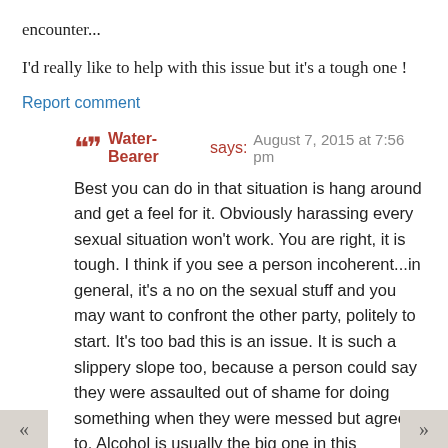encounter...
I'd really like to help with this issue but it's a tough one !
Report comment
Water-Bearer says: August 7, 2015 at 7:56 pm
Best you can do in that situation is hang around and get a feel for it. Obviously harassing every sexual situation won't work. You are right, it is tough. I think if you see a person incoherent...in general, it's a no on the sexual stuff and you may want to confront the other party, politely to start. It's too bad this is an issue. It is such a slippery slope too, because a person could say they were assaulted out of shame for doing something when they were messed but agreed to. Alcohol is usually the big one in this instance. If something seems